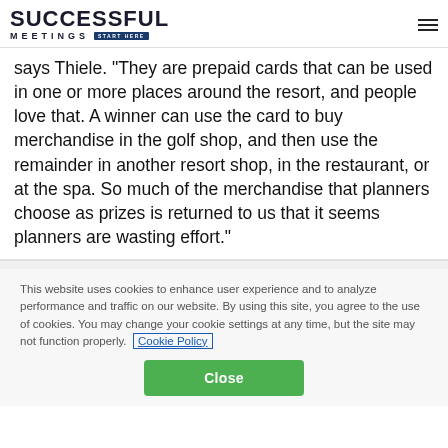SUCCESSFUL MEETINGS START HERE
says Thiele. "They are prepaid cards that can be used in one or more places around the resort, and people love that. A winner can use the card to buy merchandise in the golf shop, and then use the remainder in another resort shop, in the restaurant, or at the spa. So much of the merchandise that planners choose as prizes is returned to us that it seems planners are wasting effort."
This website uses cookies to enhance user experience and to analyze performance and traffic on our website. By using this site, you agree to the use of cookies. You may change your cookie settings at any time, but the site may not function properly. Cookie Policy
Close